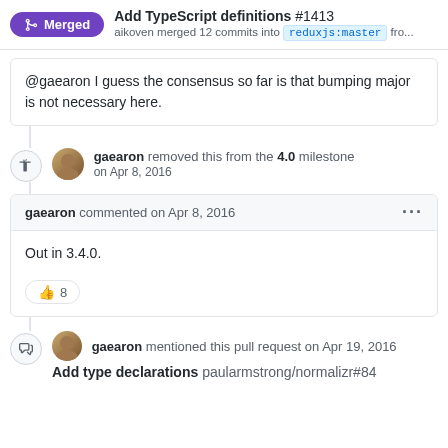Add TypeScript definitions #1413 — aikoven merged 12 commits into reduxjs:master fro...
@gaearon I guess the consensus so far is that bumping major is not necessary here.
gaearon removed this from the 4.0 milestone on Apr 8, 2016
gaearon commented on Apr 8, 2016
Out in 3.4.0.
👍 8
gaearon mentioned this pull request on Apr 19, 2016
Add type declarations paularmstrong/normalizr#84